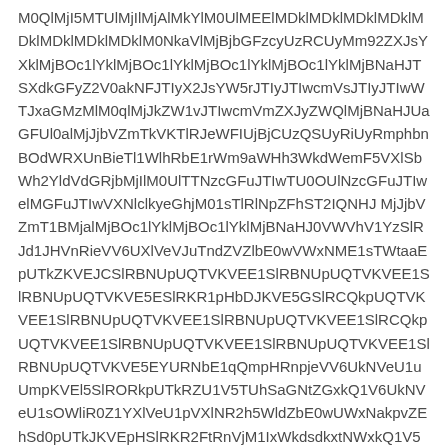M0QlMjI5MTUlMjIlMjAlMkYlM0UlMEElMDklMDklMDklMDklMDklMDklMDklMDklM0NkaXYlMjBjbGFzcyUzRCUyMm92ZXJsYXklMjBOc1lYklMjBOc1lYklMjBOc1lYklMjBOc1lYklMjBNaHJTSXdkGFyZ2V0akNFJTIyX2JsYW5rJTIyJTIwcmVsJTIyJTIwWTJxaGMzMlM0qlMjJkZW1vJTIwcmVmZXJyZWQlMjBNaHJUaGFUl0alMjJjbVZmTkVKTlRJeWFIUjBjCUzQSUyRiUyRmphbnBON WRXUnBieTJ1WlhRbE1rWm9aWHh3WkdWemF5VXlSbWh2YldVdGRjbMjIlM0UlTTNzcGFuJTIwTU0OUlNzcGFuJTIwelMGFuJTIwVXNlclkyeGhjM01sT TlRlNpZFhST2IQNHJ MjJjbVZmT1BMjalMjBOc1lYklMjBOc1lYklMjBNaHJ0VWVhV1YzSlRJd1JHVnRieVV6UXl VeVJuTndZVZlbE0wVWxNME1sTWtaaEpUTkZKVEJCSlRBNUpUQTVKVEE1SlRBNUpUQTVKVEE1SlRBNUpUQTVKVE5ESlRKR1pHbDJKVE5GSlRCQkpUQTVKVEE1SlRBNUpUQTVKVEE1SlRBNURhRE1sT TlCY0dGenRwVXpSQ1V5TW5SakpUSXlKVE5GSlRODWVTVXlNSFJoY21kbGRDVXpSQ1V5TWw5aWJHRnVheVV5TWlVeU1HaHlaV1lsTTBRbE1qqSmgkSFJ3SlROQkpUSkdKVEpHYW1GdWMzUjFaR2x2TG01bGRDVXlSbWh2YldKbEhCa1pYTnJKVEl5SlRORUpSR1Z0YnlVeU1EVU0